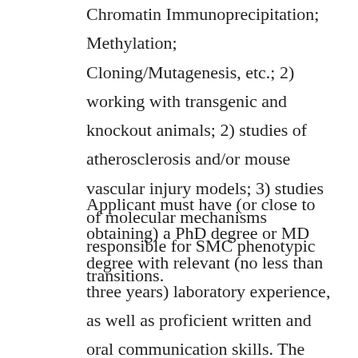Chromatin Immunoprecipitation; Methylation; Cloning/Mutagenesis, etc.; 2) working with transgenic and knockout animals; 2) studies of atherosclerosis and/or mouse vascular injury models; 3) studies of molecular mechanisms responsible for SMC phenotypic transitions.
Applicant must have (or close to obtaining) a PhD degree or MD degree with relevant (no less than three years) laboratory experience, as well as proficient written and oral communication skills. The successful applicant is expected to apply for external fellowships, present results at scientific conferences, and prepare manuscripts for publication.